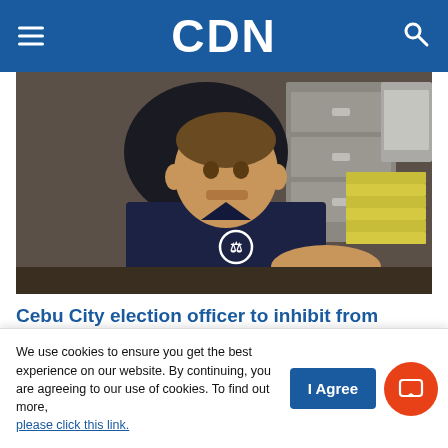CDN
[Figure (photo): Man in dark navy polo shirt sitting in an office chair in front of a filing cabinet, with stacks of yellow envelopes on the desk beside him.]
Cebu City election officer to inhibit from being canvass chair amidst threat
Disclaimer: The comments uploaded on this site do not necessarily represent
We use cookies to ensure you get the best experience on our website. By continuing, you are agreeing to our use of cookies. To find out more, please click this link.